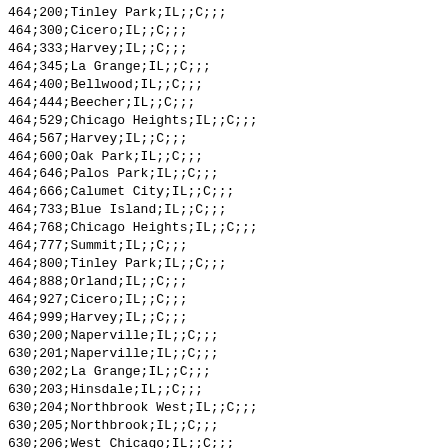464;200;Tinley Park;IL;;C;;;
464;300;Cicero;IL;;C;;;
464;333;Harvey;IL;;C;;;
464;345;La Grange;IL;;C;;;
464;400;Bellwood;IL;;C;;;
464;444;Beecher;IL;;C;;;
464;529;Chicago Heights;IL;;C;;;
464;567;Harvey;IL;;C;;;
464;600;Oak Park;IL;;C;;;
464;646;Palos Park;IL;;C;;;
464;666;Calumet City;IL;;C;;;
464;733;Blue Island;IL;;C;;;
464;768;Chicago Heights;IL;;C;;;
464;777;Summit;IL;;C;;;
464;800;Tinley Park;IL;;C;;;
464;888;Orland;IL;;C;;;
464;927;Cicero;IL;;C;;;
464;999;Harvey;IL;;C;;;
630;200;Naperville;IL;;C;;;
630;201;Naperville;IL;;C;;;
630;202;La Grange;IL;;C;;;
630;203;Hinsdale;IL;;C;;;
630;204;Northbrook West;IL;;C;;;
630;205;Northbrook;IL;;C;;;
630;206;West Chicago;IL;;C;;;
630;207;Hinsdale;IL;;C;;;
630;208;Geneva;IL;;C;;;
630;209;Hinsdale;IL;;C;;;
630;210;Naperville;IL;;C;;;
630;212;Wheeling;IL;;C;;;
630;213;Bartlett;IL;;B;;;